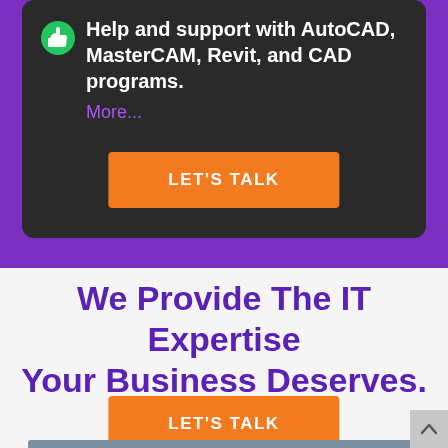Help and support with AutoCAD, MasterCAM, Revit, and CAD programs. More...
LET'S TALK
We Provide The IT Expertise Your Business Deserves.
LET'S TALK